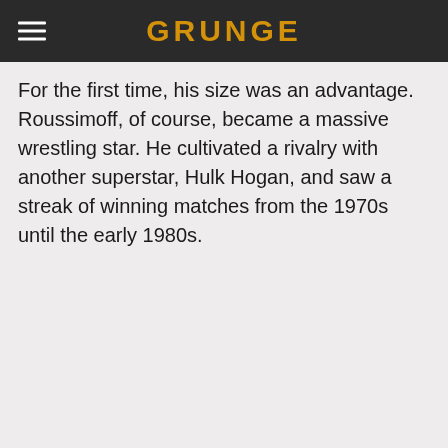GRUNGE
For the first time, his size was an advantage. Roussimoff, of course, became a massive wrestling star. He cultivated a rivalry with another superstar, Hulk Hogan, and saw a streak of winning matches from the 1970s until the early 1980s.